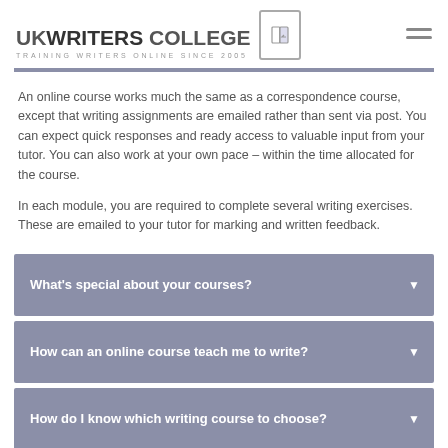UK WRITERS COLLEGE — TRAINING WRITERS ONLINE SINCE 2005
An online course works much the same as a correspondence course, except that writing assignments are emailed rather than sent via post. You can expect quick responses and ready access to valuable input from your tutor. You can also work at your own pace – within the time allocated for the course.
In each module, you are required to complete several writing exercises. These are emailed to your tutor for marking and written feedback.
What's special about your courses?
How can an online course teach me to write?
How do I know which writing course to choose?